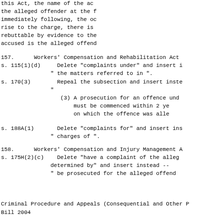this Act, the name of the ac
the alleged offender at the f
immediately following, the oc
rise to the charge, there is
rebuttable by evidence to the
accused is the alleged offend
157.      Workers' Compensation and Rehabilitation Act
s. 115(1)(d)     Delete "complaints under" and insert i
               " the matters referred to in ".
s. 170(3)        Repeal the subsection and insert inste
               "
                  (3) A prosecution for an offence und
                      must be commenced within 2 ye
                      on which the offence was alle
s. 188A(1)       Delete "complaints for" and insert ins
               " charges of ".
158.      Workers' Compensation and Injury Management A
s. 175H(2)(c)    Delete "have a complaint of the alleg
               determined by" and insert instead --
               " be prosecuted for the alleged offend
Criminal Procedure and Appeals (Consequential and Other P
Bill 2004